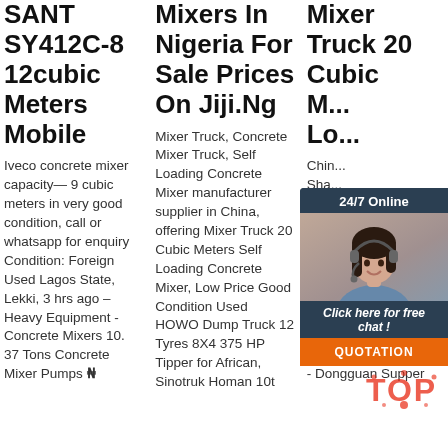SANT SY412C-8 12cubic Meters Mobile
Iveco concrete mixer capacity— 9 cubic meters in very good condition, call or whatsapp for enquiry Condition: Foreign Used Lagos State, Lekki, 3 hrs ago – Heavy Equipment - Concrete Mixers 10. 37 Tons Concrete Mixer Pumps ₦
Mixers In Nigeria For Sale Prices On Jiji.Ng
Mixer Truck, Concrete Mixer Truck, Self Loading Concrete Mixer manufacturer supplier in China, offering Mixer Truck 20 Cubic Meters Self Loading Concrete Mixer, Low Price Good Condition Used HOWO Dump Truck 12 Tyres 8X4 375 HP Tipper for African, Sinotruk Homan 10t
Mixer Truck 20 Cubic M... Lo...
Chin... Sha... Cub... Mixe... Dim... deta... Cen... from Good Quality Shancman 8X4 16 Cubic Meters Concrete Mixer Truck Dimension - Dongguan Supper
[Figure (photo): Customer service representative chat widget with 24/7 Online label, photo of woman with headset, 'Click here for free chat!' text, and QUOTATION button]